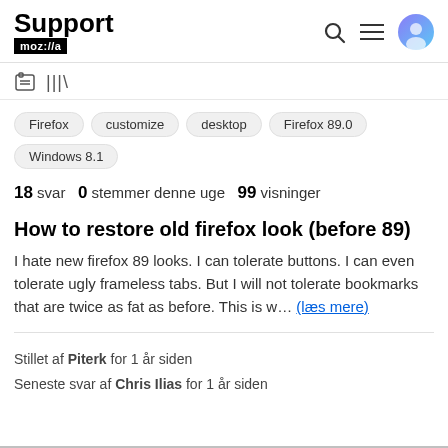Support mozilla
[Figure (screenshot): Browser address bar and library icon in navigation bar]
Firefox
customize
desktop
Firefox 89.0
Windows 8.1
18 svar   0 stemmer denne uge   99 visninger
How to restore old firefox look (before 89)
I hate new firefox 89 looks. I can tolerate buttons. I can even tolerate ugly frameless tabs. But I will not tolerate bookmarks that are twice as fat as before. This is w… (læs mere)
Stillet af Piterk for 1 år siden
Seneste svar af Chris Ilias for 1 år siden